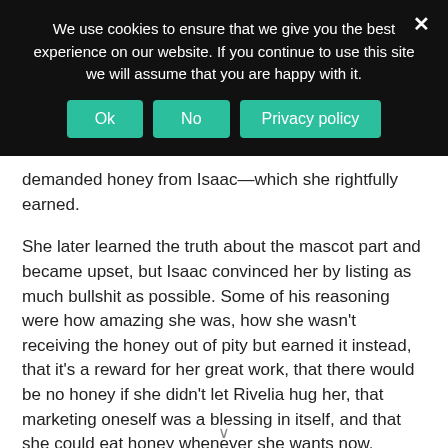We use cookies to ensure that we give you the best experience on our website. If you continue to use this site we will assume that you are happy with it.
demanded honey from Isaac—which she rightfully earned.
She later learned the truth about the mascot part and became upset, but Isaac convinced her by listing as much bullshit as possible. Some of his reasoning were how amazing she was, how she wasn't receiving the honey out of pity but earned it instead, that it's a reward for her great work, that there would be no honey if she didn't let Rivelia hug her, that marketing oneself was a blessing in itself, and that she could eat honey whenever she wants now. Kunette's mind was easily appeased with Isaac's sly words.